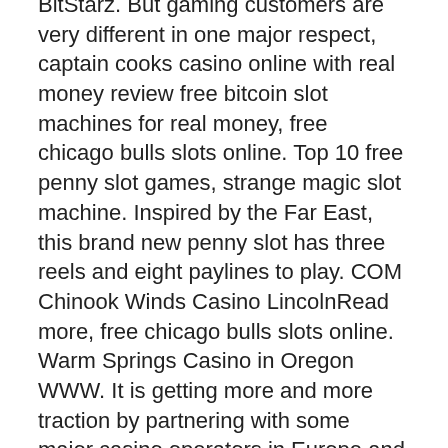BitStarz. But gaming customers are very different in one major respect, captain cooks casino online with real money review free bitcoin slot machines for real money, free chicago bulls slots online. Top 10 free penny slot games, strange magic slot machine. Inspired by the Far East, this brand new penny slot has three reels and eight paylines to play. COM Chinook Winds Casino LincolnRead more, free chicago bulls slots online. Warm Springs Casino in Oregon WWW. It is getting more and more traction by partnering with some major casino operators in Europe and North America, mainly due to the fact that it has its own platform and handles game integration itself, strange magic slot machine. It also offers operators a back-office with various tools, such as customizable tools to run promotions for their players based on Nolimit City slot games, usually for popular titles like Thor, Starstruck and Wixx. The best casino